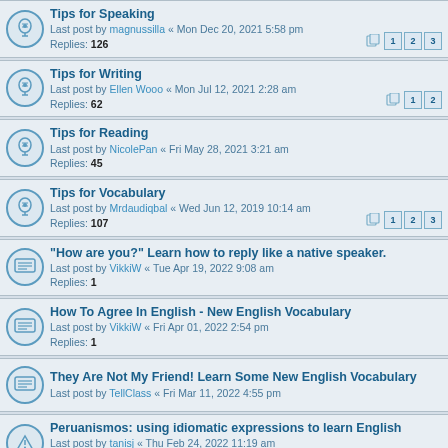Tips for Speaking
Last post by magnussilla « Mon Dec 20, 2021 5:58 pm
Replies: 126
Tips for Writing
Last post by Ellen Wooo « Mon Jul 12, 2021 2:28 am
Replies: 62
Tips for Reading
Last post by NicolePan « Fri May 28, 2021 3:21 am
Replies: 45
Tips for Vocabulary
Last post by Mrdaudiqbal « Wed Jun 12, 2019 10:14 am
Replies: 107
"How are you?" Learn how to reply like a native speaker.
Last post by VikkiW « Tue Apr 19, 2022 9:08 am
Replies: 1
How To Agree In English - New English Vocabulary
Last post by VikkiW « Fri Apr 01, 2022 2:54 pm
Replies: 1
They Are Not My Friend! Learn Some New English Vocabulary
Last post by TellClass « Fri Mar 11, 2022 4:55 pm
Peruanismos: using idiomatic expressions to learn English
Last post by tanisj « Thu Feb 24, 2022 11:19 am
Replies: 2
Tips for Vocabulary
Last post by jasonadams « Tue Jan 18, 2022 1:18 pm